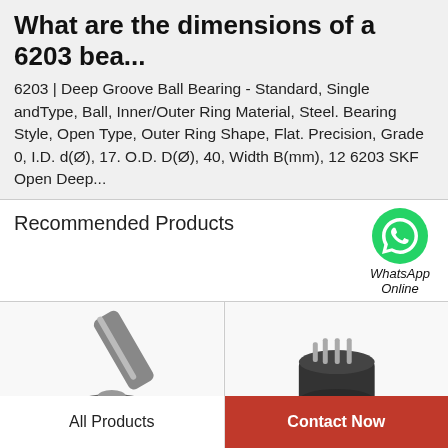What are the dimensions of a 6203 bea...
6203 | Deep Groove Ball Bearing - Standard, Single andType, Ball, Inner/Outer Ring Material, Steel. Bearing Style, Open Type, Outer Ring Shape, Flat. Precision, Grade 0, I.D. d(Ø), 17. O.D. D(Ø), 40, Width B(mm), 12 6203 SKF Open Deep...
Recommended Products
[Figure (photo): WhatsApp Online button with green phone icon]
[Figure (photo): Drill chuck or precision tool with metallic cylindrical body and knurled grip]
[Figure (photo): Small electric motor or sensor component with white cylindrical body and connector pins]
All Products
Contact Now